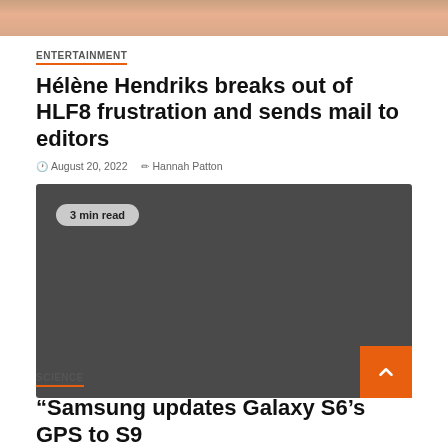[Figure (photo): Top cropped photo of a person, partially visible at top of page]
ENTERTAINMENT
Hélène Hendriks breaks out of HLF8 frustration and sends mail to editors
August 20, 2022   Hannah Patton
[Figure (other): Dark gray box with '3 min read' badge and scroll-to-top orange button]
SCIENCE
“Samsung updates Galaxy S6’s GPS to S9